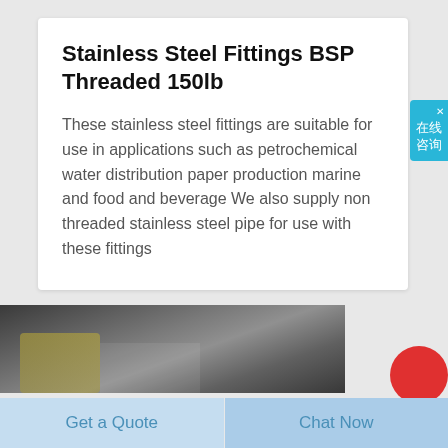Stainless Steel Fittings BSP Threaded 150lb
These stainless steel fittings are suitable for use in applications such as petrochemical water distribution paper production marine and food and beverage We also supply non threaded stainless steel pipe for use with these fittings
[Figure (photo): Partial photo of stainless steel fittings, dark industrial background with a red circle element partially visible at the right edge]
Get a Quote
Chat Now